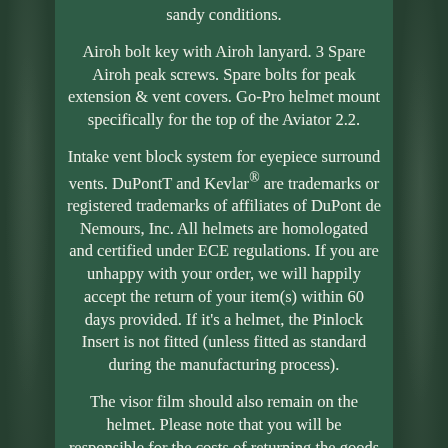sandy conditions.
Airoh bolt key with Airoh lanyard. 3 Spare Airoh peak screws. Spare bolts for peak extension & vent covers. Go-Pro helmet mount specifically for the top of the Aviator 2.2.
Intake vent block system for eyepiece surround vents. DuPontT and Kevlar® are trademarks or registered trademarks of affiliates of DuPont de Nemours, Inc. All helmets are homologated and certified under ECE regulations. If you are unhappy with your order, we will happily accept the return of your item(s) within 60 days provided. If it's a helmet, the Pinlock Insert is not fitted (unless fitted as standard during the manufacturing process).
The visor film should also remain on the helmet. Please note that you will be responsible for the costs of returning the goods to us unless we delivered the item to you in error or the item is faulty. This item is in the category "Vehicle Parts & Accessories\Clothing, Protective Gear &